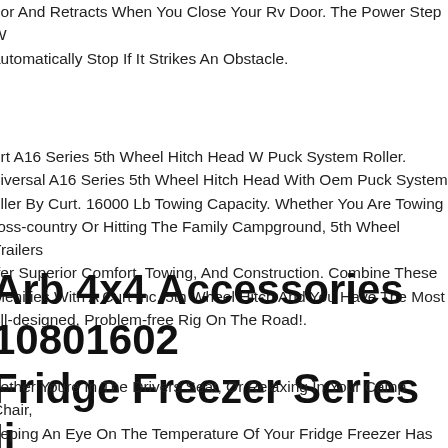oor And Retracts When You Close Your Rv Door. The Power Step W automatically Stop If It Strikes An Obstacle.
urt A16 Series 5th Wheel Hitch Head W Puck System Roller. niversal A16 Series 5th Wheel Hitch Head With Oem Puck System oller By Curt. 16000 Lb Towing Capacity. Whether You Are Towing ross-country Or Hitting The Family Campground, 5th Wheel Trailers ffer Superior Comfort, Towing, And Construction. Combine These menities With A Curt Inc. 5th Wheel Hitch And You Have The Most ell-designed, Problem-free Rig On The Road!.
Arb 4x4 Accessories 10801602 Fridge Freezer Series Ii
hether Youre In The Drivers Seat, Or Relaxing In Your Camp Chair, eeping An Eye On The Temperature Of Your Fridge Freezer Has ever Been Easier. Now, You Can Adjust Or Monitor The Fridge reezers Temperature And Receive An Alert When Your Friend Leav